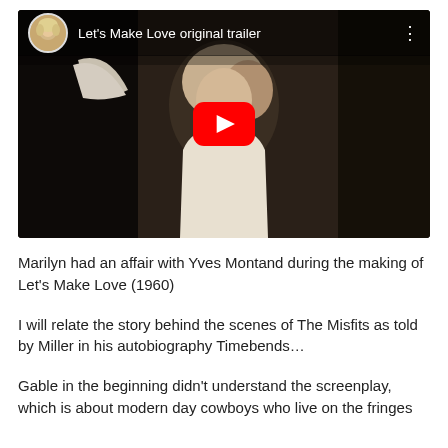[Figure (screenshot): YouTube video embed showing 'Let's Make Love original trailer' with a woman with blonde hair in a dark scene, a circular avatar thumbnail in the top-left, and a red YouTube play button centered on the video.]
Marilyn had an affair with Yves Montand during the making of Let's Make Love (1960)
I will relate the story behind the scenes of The Misfits as told by Miller in his autobiography Timebends…
Gable in the beginning didn't understand the screenplay, which is about modern day cowboys who live on the fringes